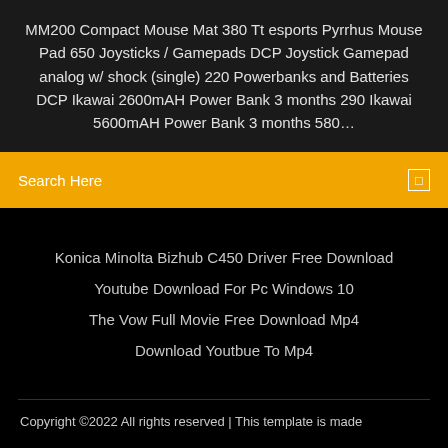MM200 Compact Mouse Mat 380 Tt esports Pyrrhus Mouse Pad 650 Joysticks / Gamepads DCP Joystick Gamepad analog w/ shock (single) 220 Powerbanks and Batteries DCP Ikawai 2600mAH Power Bank 3 months 290 Ikawai 5600mAH Power Bank 3 months 580...
Search Here
Konica Minolta Bizhub C450 Driver Free Download
Youtube Download For Pc Windows 10
The Vow Full Movie Free Download Mp4
Download Youtbue To Mp4
Copyright ©2022 All rights reserved | This template is made